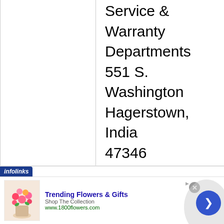Service & Warranty Departments 551 S. Washington Hagerstown, Indiana 47346 888-218-3611 (Toll 877-973-3486 (Toll
ASSISTANCE:
You may also submit a complaint to:
[Figure (screenshot): Infolinks ad banner showing 'Trending Flowers & Gifts - Shop The Collection - www.1800flowers.com' advertisement with flower bouquet image and navigation arrow button]